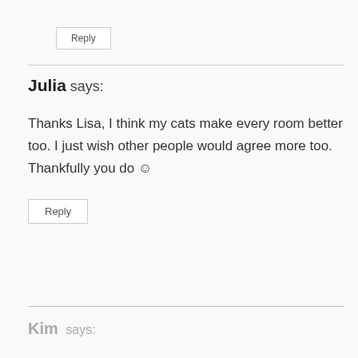Reply
Julia says:
Thanks Lisa, I think my cats make every room better too. I just wish other people would agree more too. Thankfully you do ☺
Reply
Kim says: